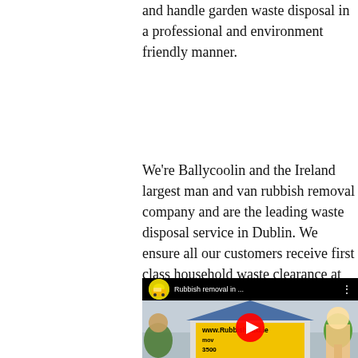and handle garden waste disposal in a professional and environment friendly manner.
We're Ballycoolin and the Ireland largest man and van rubbish removal company and are the leading waste disposal service in Dublin. We ensure all our customers receive first class household waste clearance at affordable prices throughout Dublin 24 area.
[Figure (screenshot): YouTube video thumbnail showing 'Rubbish removal in ...' with a yellow van avatar, animated characters, www.Rubbish-taxi.ie sign, and a YouTube play button overlay.]